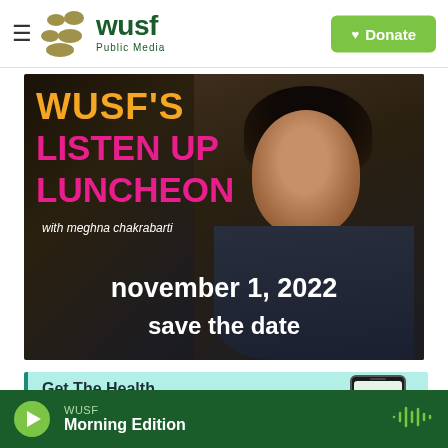WUSF Public Media — Donate
[Figure (photo): WUSF's Listen Up Luncheon promotional image featuring Meghna Chakrabarti. Text overlays: 'WUSF'S LISTEN UP LUNCHEON with meghna chakrabarti november 1, 2022 save the date']
[Figure (photo): Get The Health News You Need promotional banner with phone image on teal background]
WUSF — Morning Edition (audio player bar)